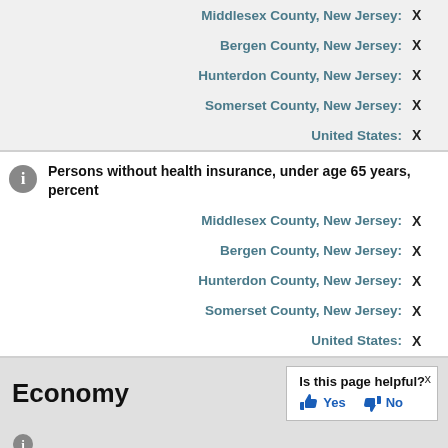| Location | Value |
| --- | --- |
| Middlesex County, New Jersey: | X |
| Bergen County, New Jersey: | X |
| Hunterdon County, New Jersey: | X |
| Somerset County, New Jersey: | X |
| United States: | X |
Persons without health insurance, under age 65 years, percent
| Location | Value |
| --- | --- |
| Middlesex County, New Jersey: | X |
| Bergen County, New Jersey: | X |
| Hunterdon County, New Jersey: | X |
| Somerset County, New Jersey: | X |
| United States: | X |
Economy
Is this page helpful? Yes No